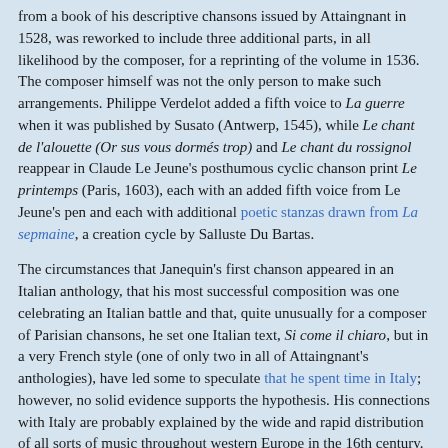from a book of his descriptive chansons issued by Attaingnant in 1528, was reworked to include three additional parts, in all likelihood by the composer, for a reprinting of the volume in 1536. The composer himself was not the only person to make such arrangements. Philippe Verdelot added a fifth voice to La guerre when it was published by Susato (Antwerp, 1545), while Le chant de l'alouette (Or sus vous dormés trop) and Le chant du rossignol reappear in Claude Le Jeune's posthumous cyclic chanson print Le printemps (Paris, 1603), each with an added fifth voice from Le Jeune's pen and each with additional poetic stanzas drawn from La sepmaine, a creation cycle by Salluste Du Bartas.
The circumstances that Janequin's first chanson appeared in an Italian anthology, that his most successful composition was one celebrating an Italian battle and that, quite unusually for a composer of Parisian chansons, he set one Italian text, Si come il chiaro, but in a very French style (one of only two in all of Attaingnant's anthologies), have led some to speculate that he spent time in Italy; however, no solid evidence supports the hypothesis. His connections with Italy are probably explained by the wide and rapid distribution of all sorts of music throughout western Europe in the 16th century. Indeed, his Missa super 'La bataille' was sufficiently well known by the mid-16th century to be singled out by Tridentine performers as worthy of censure for the profanity of its model.